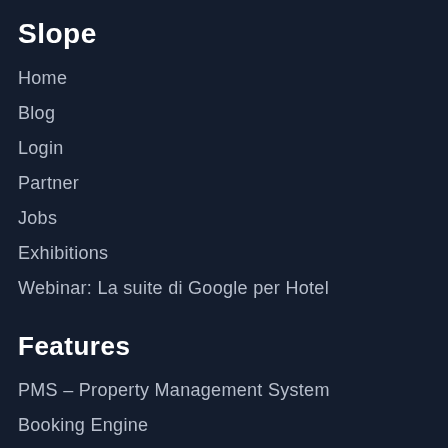Slope
Home
Blog
Login
Partner
Jobs
Exhibitions
Webinar: La suite di Google per Hotel
Features
PMS – Property Management System
Booking Engine